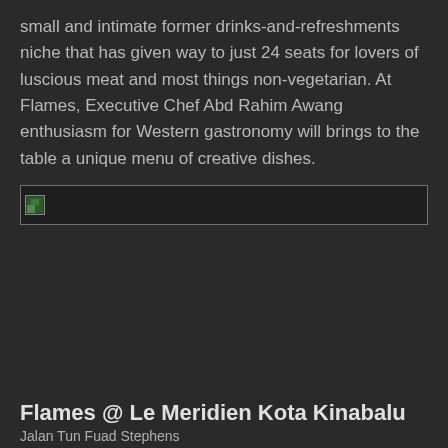small and intimate former drinks-and-refreshments niche that has given way to just 24 seats for lovers of luscious meat and most things non-vegetarian. At Flames, Executive Chef Abd Rahim Awang enthusiasm for Western gastronomy will brings to the table a unique menu of creative dishes.
[Figure (photo): A broken/unloaded image placeholder shown as a thin horizontal bar with a small broken image icon on the left, surrounded by a dark border on a dark background.]
Flames @ Le Meridien Kota Kinabalu
Jalan Tun Fuad Stephens